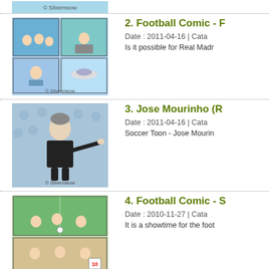[Figure (illustration): Partial thumbnail of Silvermeow cartoon at top of page with copyright watermark]
[Figure (illustration): Football Comic thumbnail - 4-panel cartoon with chibi characters, stadium, UFO scene. © Silvermeow]
2. Football Comic - F
Date : 2011-04-16 | Cata
Is it possible for Real Madr
[Figure (illustration): Jose Mourinho soccer toon character pointing, in black suit on blue background. © Silvermeow]
3. Jose Mourinho (R
Date : 2011-04-16 | Cata
Soccer Toon - Jose Mourin
[Figure (illustration): Football Comic thumbnail - 4-panel comic strip with soccer players, crowd, and scoreboard. © Silvermeow]
4. Football Comic - S
Date : 2010-11-27 | Cata
It is a showtime for the foot
[Figure (illustration): Jose Mourinho soccer toon character in grey suit on blue background. © Silvermeow]
5. Jose Mourinho (R
Date : 2010-10-13 | Cata
Soccer Toon - Jose Mourin